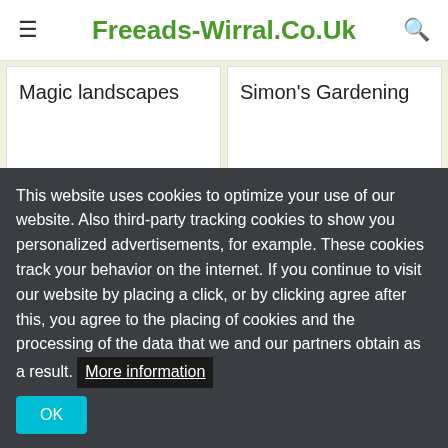Freeads-Wirral.Co.Uk
Magic landscapes
Simon's Gardening
This website uses cookies to optimize your use of our website. Also third-party tracking cookies to show you personalized advertisements, for example. These cookies track your behavior on the internet. If you continue to visit our website by placing a click, or by clicking agree after this, you agree to the placing of cookies and the processing of the data that we and our partners obtain as a result. More information
OK